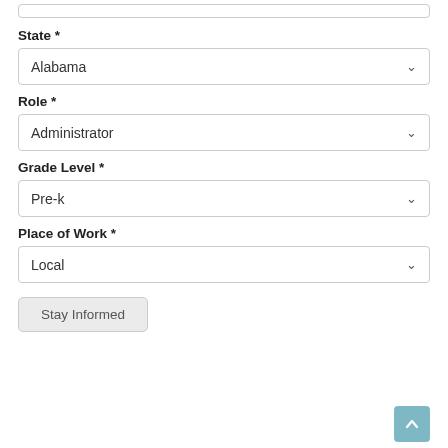State *
Alabama
Role *
Administrator
Grade Level *
Pre-k
Place of Work *
Local
Stay Informed